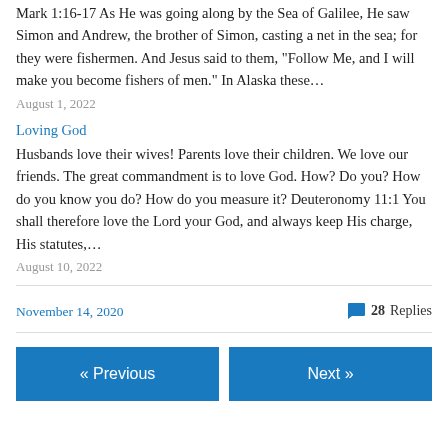Mark 1:16-17 As He was going along by the Sea of Galilee, He saw Simon and Andrew, the brother of Simon, casting a net in the sea; for they were fishermen. And Jesus said to them, “Follow Me, and I will make you become fishers of men.” In Alaska these…
August 1, 2022
Loving God
Husbands love their wives! Parents love their children. We love our friends. The great commandment is to love God. How? Do you? How do you know you do? How do you measure it? Deuteronomy 11:1 You shall therefore love the Lord your God, and always keep His charge, His statutes,…
August 10, 2022
November 14, 2020
28 Replies
« Previous
Next »